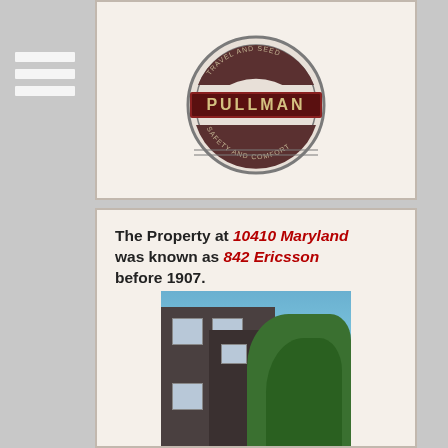[Figure (logo): Pullman circular logo with text 'TRAVEL AND SEED' around top, 'PULLMAN' in center banner, 'SAFETY AND COMFORT' around bottom]
The Property at 10410 Maryland was known as 842 Ericsson before 1907.
[Figure (photo): Photograph of a brick building with trees in front, showing upper floors with windows partially obscured by foliage]